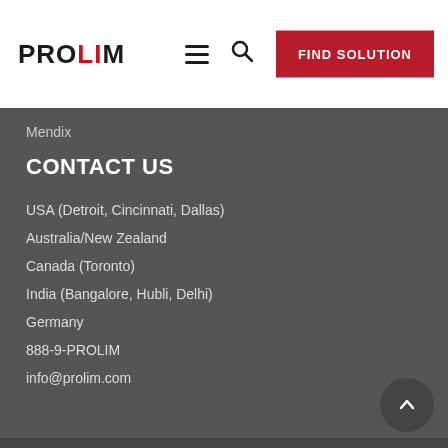[Figure (logo): PROLIM company logo with red accent mark]
Mendix
CONTACT US
USA (Detroit, Cincinnati, Dallas)
Australia/New Zealand
Canada (Toronto)
India (Bangalore, Hubli, Delhi)
Germany
888-9-PROLIM
info@prolim.com
©2022 PROLIM. All Rights Reserved